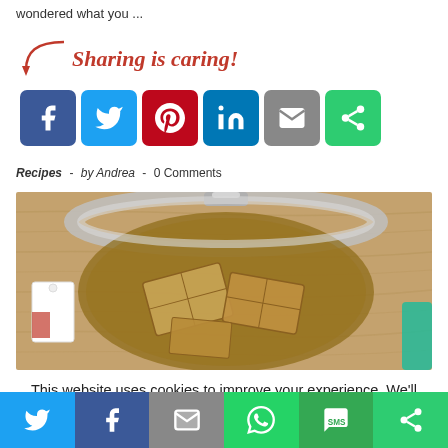wondered what you ...
[Figure (infographic): Sharing is caring! social share buttons: Facebook, Twitter, Pinterest, LinkedIn, Email, ShareThis]
Recipes - by Andrea - 0 Comments
[Figure (photo): Top-down view of an open glass jar containing cookies/crackers on a wooden surface, with a white tag visible on the left and a teal item on the right]
This website uses cookies to improve your experience. We'll assume you're ok with this, but you can opt-out if you wish.
[Figure (infographic): Bottom share bar with Twitter, Facebook, Email, WhatsApp, SMS, ShareThis buttons]